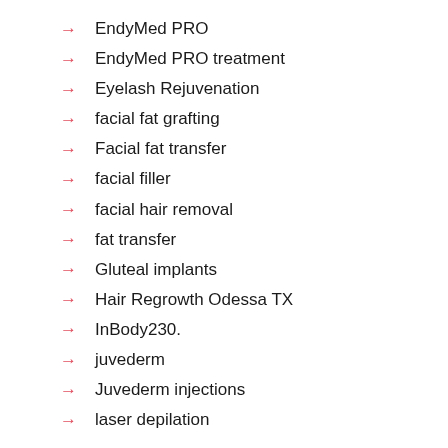EndyMed PRO
EndyMed PRO treatment
Eyelash Rejuvenation
facial fat grafting
Facial fat transfer
facial filler
facial hair removal
fat transfer
Gluteal implants
Hair Regrowth Odessa TX
InBody230.
juvederm
Juvederm injections
laser depilation